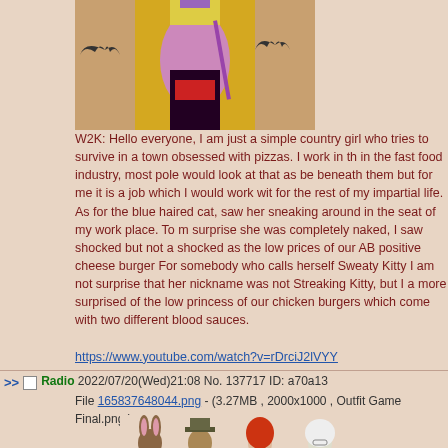[Figure (illustration): Partially visible anime/cartoon character illustration at top, pink/purple character in dark dress with gold accents]
W2K: Hello everyone, I am just a simple country girl who tries to survive in a town obsessed with pizzas. I work in the in the fast food industry, most pole would look at that as beneath them but for me it is a job which I would work with for the rest of my impartial life. As for the blue haired cat, saw her sneaking around in the seat of my work place. To surprise she was completely naked, I saw shocked but not shocked as the low prices of our AB positive cheese burger. For somebody who calls herself Sweaty Kitty I am not surprise that her nickname was not Streaking Kitty, but I am more surprised of the low princess of our chicken burgers which come with two different blood sauces.
https://www.youtube.com/watch?v=rDrciJ2lVYY
Radio 2022/07/20(Wed)21:08 No. 137717 ID: a70a13
File 165837648044.png - (3.27MB , 2000x1000 , Outfit Game Final.png )
[Figure (illustration): Four cartoon animal characters in outfits: rabbit, dog with hat, red-haired character, and sheep/goat character in dress]